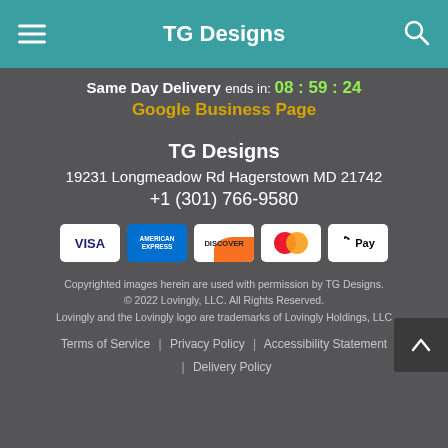TG Designs
Same Day Delivery ends in: 08 : 59 : 24
Google Business Page
TG Designs
19231 Longmeadow Rd Hagerstown MD 21742
+1 (301) 766-9580
[Figure (other): Payment method icons: VISA, American Express, Discover, Mastercard, Apple Pay]
Copyrighted images herein are used with permission by TG Designs. © 2022 Lovingly, LLC. All Rights Reserved. Lovingly and the Lovingly logo are trademarks of Lovingly Holdings, LLC
Terms of Service | Privacy Policy | Accessibility Statement | Delivery Policy